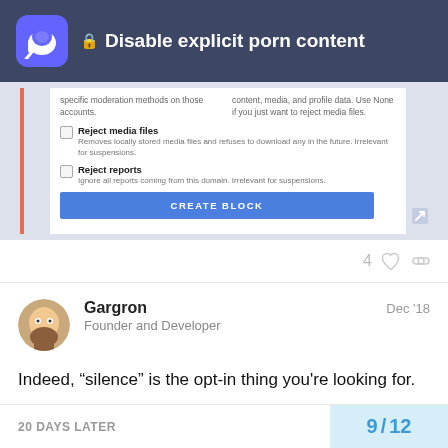Disable explicit porn content
[Figure (screenshot): Mastodon admin panel screenshot showing 'Reject media files' and 'Reject reports' checkboxes, and a CREATE BLOCK button]
4
Gargron    Dec '18
Founder and Developer
Indeed, “silence” is the opt-in thing you're looking for.
2
20 DAYS LATER    9 / 12